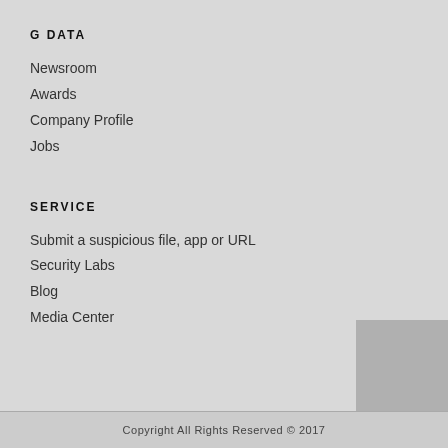G DATA
Newsroom
Awards
Company Profile
Jobs
SERVICE
Submit a suspicious file, app or URL
Security Labs
Blog
Media Center
[Figure (other): Gray square decorative box in bottom-right corner]
Copyright All Rights Reserved © 2017